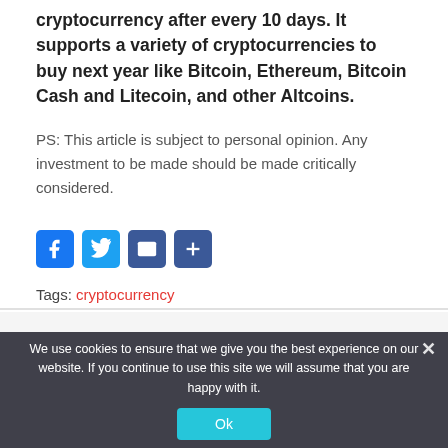cryptocurrency after every 10 days. It supports a variety of cryptocurrencies to buy next year like Bitcoin, Ethereum, Bitcoin Cash and Litecoin, and other Altcoins.
PS: This article is subject to personal opinion. Any investment to be made should be made critically considered.
[Figure (infographic): Row of social share buttons: Facebook (blue), Twitter (light blue), Email (dark blue), Share/Plus (dark blue)]
Tags: cryptocurrency
We use cookies to ensure that we give you the best experience on our website. If you continue to use this site we will assume that you are happy with it.